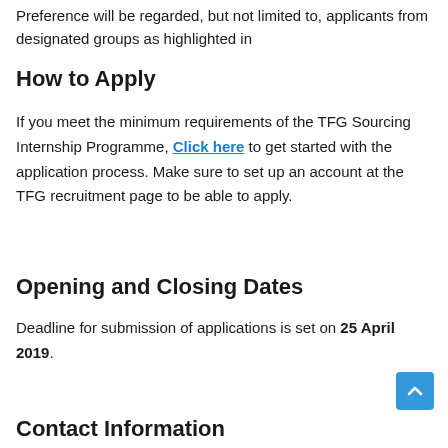Preference will be regarded, but not limited to, applicants from designated groups as highlighted in
How to Apply
If you meet the minimum requirements of the TFG Sourcing Internship Programme, Click here to get started with the application process. Make sure to set up an account at the TFG recruitment page to be able to apply.
Opening and Closing Dates
Deadline for submission of applications is set on 25 April 2019.
Contact Information